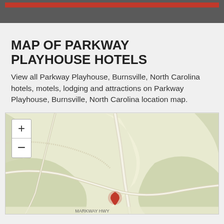MAP OF PARKWAY PLAYHOUSE HOTELS
View all Parkway Playhouse, Burnsville, North Carolina hotels, motels, lodging and attractions on Parkway Playhouse, Burnsville, North Carolina location map.
[Figure (map): Map showing Parkway Playhouse location in Burnsville, North Carolina with zoom controls (+/-) and a red location pin marker]